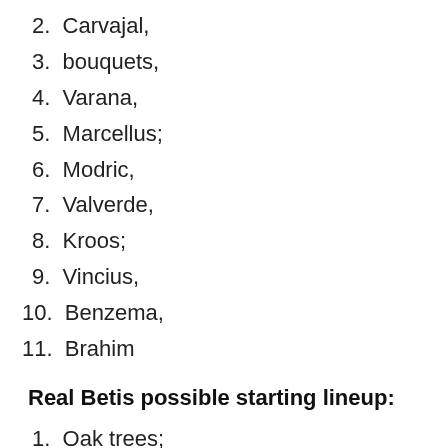2. Carvajal,
3. bouquets,
4. Varana,
5. Marcellus;
6. Modric,
7. Valverde,
8. Kroos;
9. Vincius,
10. Benzema,
11. Brahim
Real Betis possible starting lineup:
1. Oak trees;
2. Warrior,
3. bartra,
4. Fedal,
5. Firpo;